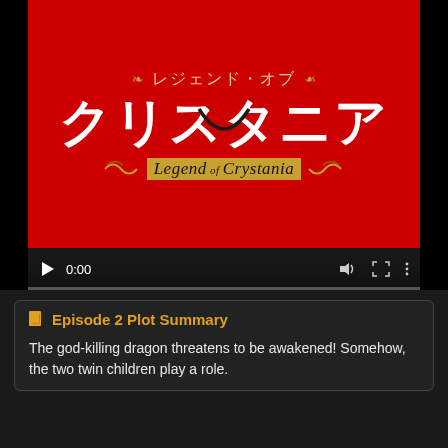[Figure (screenshot): Video player showing Legend of Crystania anime title card. Red background with Japanese title クリスタニア in large white text, smaller gold text レジェンド・オブ above, and 'Legend of Crystania' in black italic below with gold decorative elements. Video controls show play button, 0:00 timestamp, volume, fullscreen, and menu icons.]
Episode 2 Plot Summary
The god-killing dragon threatens to be awakened! Somehow, the two twin children play a role.